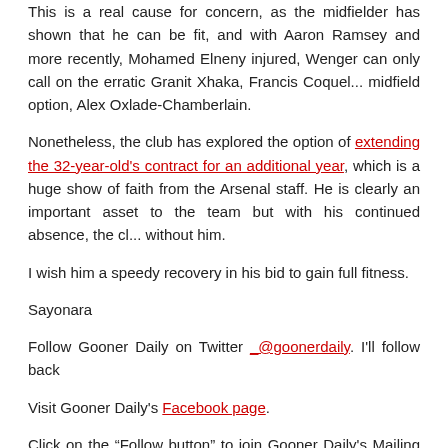This is a real cause for concern, as the midfielder has shown that he can be fit, and with Aaron Ramsey and more recently, Mohamed Elneny injured, Wenger can only call on the erratic Granit Xhaka, Francis Coquelin and midfield option, Alex Oxlade-Chamberlain.
Nonetheless, the club has explored the option of extending the 32-year-old's contract for an additional year, which is a huge show of faith from the Arsenal staff. He is clearly an important asset to the team but with his continued absence, the club must adapt without him.
I wish him a speedy recovery in his bid to gain full fitness.
Sayonara
Follow Gooner Daily on Twitter _@goonerdaily. I'll follow back
Visit Gooner Daily's Facebook page.
Click on the “Follow button” to join Gooner Daily's Mailing List
Be sociable, share this:
Twitter
Facebook
Email
WhatsApp
LinkedIn
Print
More